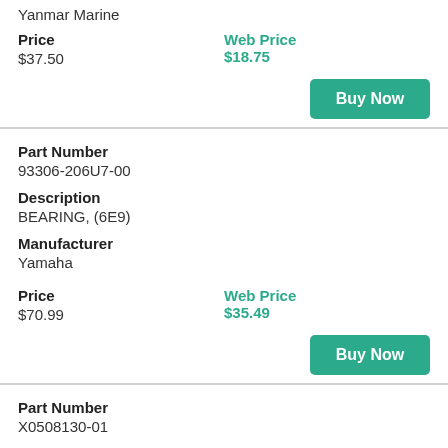Yanmar Marine
Price
$37.50
Web Price
$18.75
Buy Now
Part Number
93306-206U7-00
Description
BEARING, (6E9)
Manufacturer
Yamaha
Price
$70.99
Web Price
$35.49
Buy Now
Part Number
X0508130-01
Description
BEARING, BALL
Manufacturer